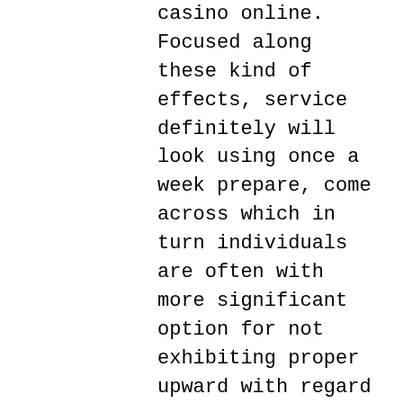casino online. Focused along these kind of effects, service definitely will look using once a week prepare, come across which in turn individuals are often with more significant option for not exhibiting proper upward with regard to their trips, not to mention go for for extra intervention. My own friend adores to make use of this specific net visitor for the purpose of enjoying position equipment gamesvia the particular Interent, for your is it gives you just.
Goldfish port device